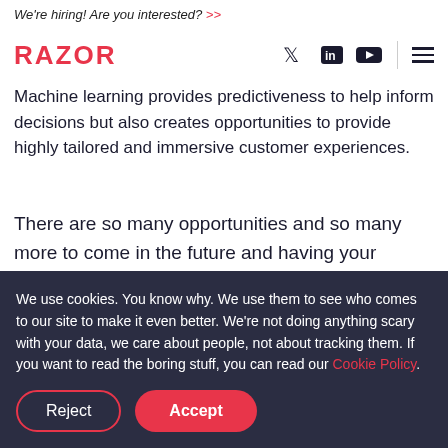We're hiring! Are you interested? >>
RAZOR [navigation with Twitter, LinkedIn, YouTube icons and hamburger menu]
possible to gain great insights into a business, providing actionable metrics to help growth and provide direction. Machine learning provides predictiveness to help inform decisions but also creates opportunities to provide highly tailored and immersive customer experiences.
There are so many opportunities and so many more to come in the future and having your applications and data within the same ecosystem reduces the time to market providing the competitive advantage.
We use cookies. You know why. We use them to see who comes to our site to make it even better. We're not doing anything scary with your data, we care about people, not about tracking them. If you want to read the boring stuff, you can read our Cookie Policy.
Reject | Accept